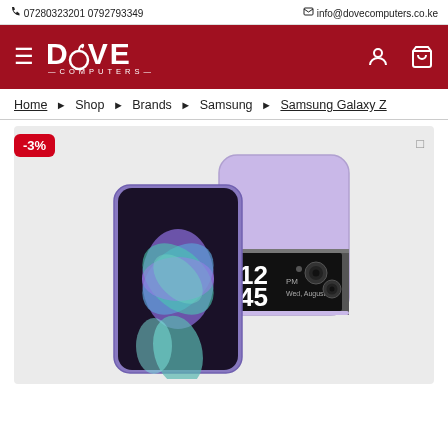07280323201 0792793349 | info@dovecomputers.co.ke
[Figure (logo): Dove Computers logo with hamburger menu, user icon, and cart icon on dark red background]
Home > Shop > Brands > Samsung > Samsung Galaxy Z
[Figure (photo): Samsung Galaxy Z Flip 3 smartphone shown open and closed in lavender/purple color]
-3%